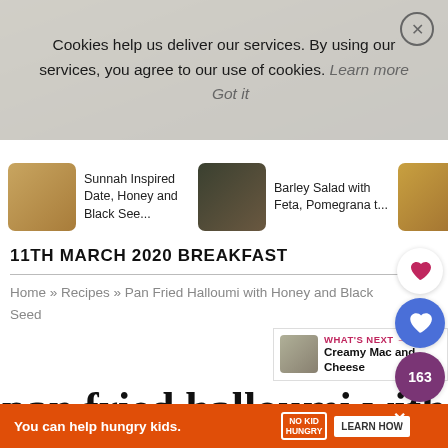Cookies help us deliver our services. By using our services, you agree to our use of cookies. Learn more Got it
[Figure (screenshot): Three recipe cards: Sunnah Inspired Date, Honey and Black See...; Barley Salad with Feta, Pomegrana...; Oa 353]
11TH MARCH 2020 BREAKFAST
Home » Recipes » Pan Fried Halloumi with Honey and Black Seed
WHAT'S NEXT → Creamy Mac and Cheese
pan fried halloumi with
You can help hungry kids. NO KID HUNGRY LEARN HOW